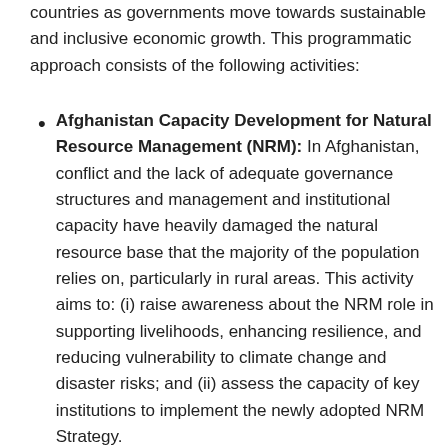countries as governments move towards sustainable and inclusive economic growth. This programmatic approach consists of the following activities:
Afghanistan Capacity Development for Natural Resource Management (NRM): In Afghanistan, conflict and the lack of adequate governance structures and management and institutional capacity have heavily damaged the natural resource base that the majority of the population relies on, particularly in rural areas. This activity aims to: (i) raise awareness about the NRM role in supporting livelihoods, enhancing resilience, and reducing vulnerability to climate change and disaster risks; and (ii) assess the capacity of key institutions to implement the newly adopted NRM Strategy.